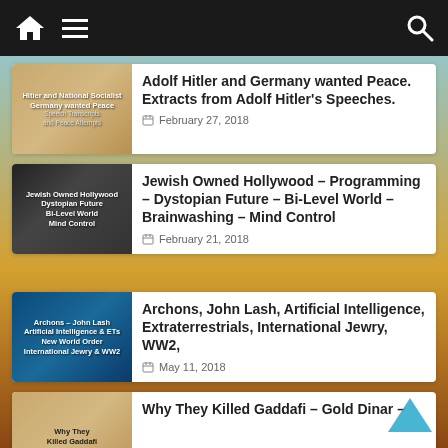Navigation bar with home, menu, and search icons
Adolf Hitler and Germany wanted Peace. Extracts from Adolf Hitler's Speeches. — February 27, 2018
Jewish Owned Hollywood – Programming – Dystopian Future – Bi-Level World – Brainwashing – Mind Control — February 21, 2018
Archons, John Lash, Artificial Intelligence, Extraterrestrials, International Jewry, WW2, — May 11, 2018
Why They Killed Gaddafi – Gold Dinar –